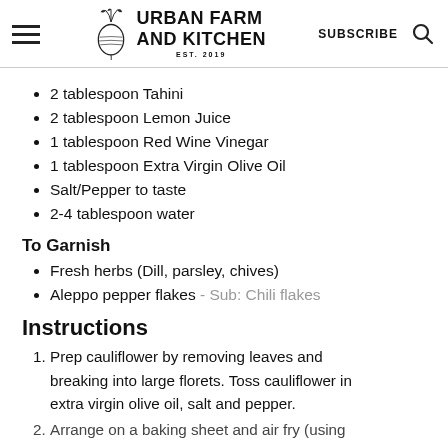URBAN FARM AND KITCHEN EST. 2019 | SUBSCRIBE
2 tablespoon Tahini
2 tablespoon Lemon Juice
1 tablespoon Red Wine Vinegar
1 tablespoon Extra Virgin Olive Oil
Salt/Pepper to taste
2-4 tablespoon water
To Garnish
Fresh herbs (Dill, parsley, chives)
Aleppo pepper flakes - Sub: Chili flakes
Instructions
Prep cauliflower by removing leaves and breaking into large florets. Toss cauliflower in extra virgin olive oil, salt and pepper.
Arrange on a baking sheet and air fry (using...